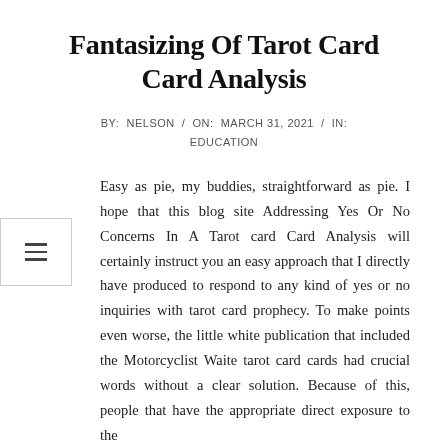Fantasizing Of Tarot Card Card Analysis
BY: NELSON / ON: MARCH 31, 2021 / IN: EDUCATION
Easy as pie, my buddies, straightforward as pie. I hope that this blog site Addressing Yes Or No Concerns In A Tarot card Card Analysis will certainly instruct you an easy approach that I directly have produced to respond to any kind of yes or no inquiries with tarot card prophecy. To make points even worse, the little white publication that included the Motorcyclist Waite tarot card cards had crucial words without a clear solution. Because of this, people that have the appropriate direct exposure to the